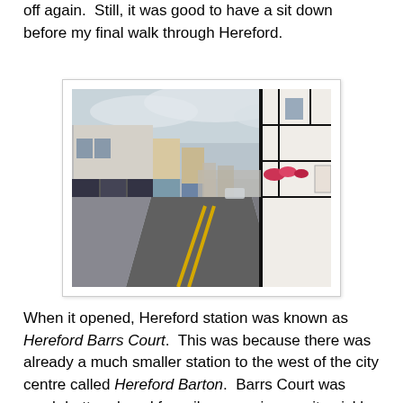off again.  Still, it was good to have a sit down before my final walk through Hereford.
[Figure (photo): Street-level photograph of a town centre road in Hereford, with white and timber-framed buildings on the right, shops on the left, and a road receding into the distance under an overcast sky.]
When it opened, Hereford station was known as Hereford Barrs Court.  This was because there was already a much smaller station to the west of the city centre called Hereford Barton.  Barrs Court was much better placed for railway services so it quickly outpaced its rival.  Barton was demolished before the century was out, though the line was retained for goods and avoiding services for another eighty years before finally closing in 1979.  The town is...